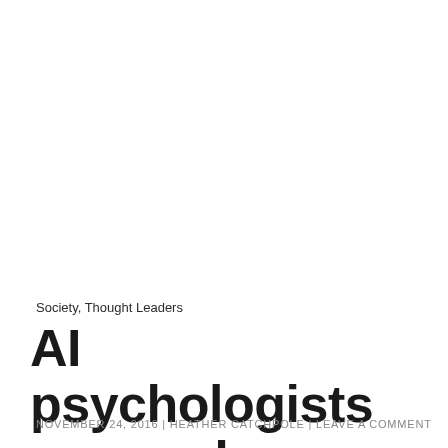Society, Thought Leaders
AI psychologists are ready now
NOVEMBER 24, 2016 | HEATHER CATCHPOLE | LEAVE A COMMENT